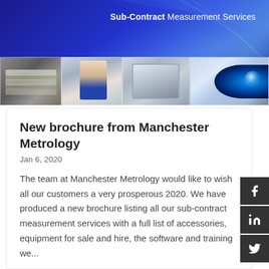[Figure (illustration): Blue gradient banner header with diagonal swoosh lines and text 'Sub-Contract Measurement Services', plus a photo strip showing measurement tools, a person working at equipment, a measurement device, and a close-up of an eye with blue light]
New brochure from Manchester Metrology
Jan 6, 2020
The team at Manchester Metrology would like to wish all our customers a very prosperous 2020. We have produced a new brochure listing all our sub-contract measurement services with a full list of accessories, equipment for sale and hire, the software and training we...